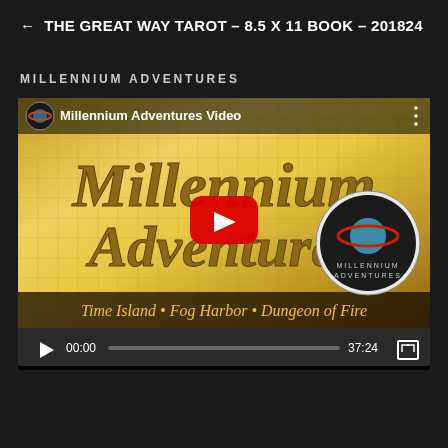← THE GREAT WAY TAROT – 8.5 X 11 BOOK – 201824
MILLENNIUM ADVENTURES
[Figure (screenshot): Embedded YouTube video player showing Millennium Adventures Video thumbnail. The thumbnail features golden ornate text reading 'Millennium Adventures' with subtitle 'Time Island • Fog Harbor • Dungeon of Fire', the Millennium Adventures logo (planet with rings), and a YouTube play button overlay. Video controls show 00:00 start time and 37:24 duration.]